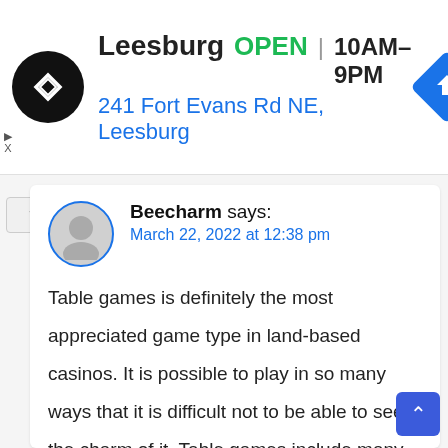[Figure (infographic): Ad banner for a store in Leesburg showing logo, OPEN status, hours 10AM-9PM, address 241 Fort Evans Rd NE, Leesburg, and a navigation icon]
Beecharm says:
March 22, 2022 at 12:38 pm

Table games is definitely the most appreciated game type in land-based casinos. It is possible to play in so many ways that it is difficult not to be able to see the charm of it. Table games include many different variations of games. You can choose to play a variant that suits you best. Yabby Casino has nice VIP club and to